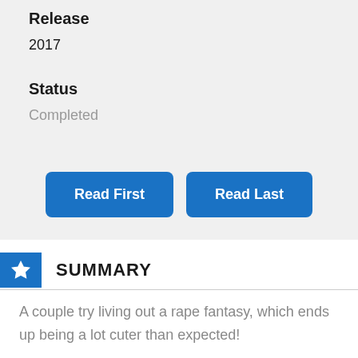Release
2017
Status
Completed
Read First
Read Last
SUMMARY
A couple try living out a rape fantasy, which ends up being a lot cuter than expected!